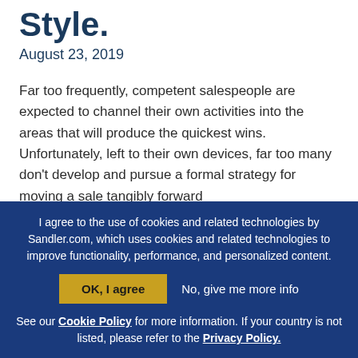Style.
August 23, 2019
Far too frequently, competent salespeople are expected to channel their own activities into the areas that will produce the quickest wins. Unfortunately, left to their own devices, far too many don't develop and pursue a formal strategy for moving a sale tangibly forward
I agree to the use of cookies and related technologies by Sandler.com, which uses cookies and related technologies to improve functionality, performance, and personalized content.
OK, I agree  No, give me more info
See our Cookie Policy for more information. If your country is not listed, please refer to the Privacy Policy.